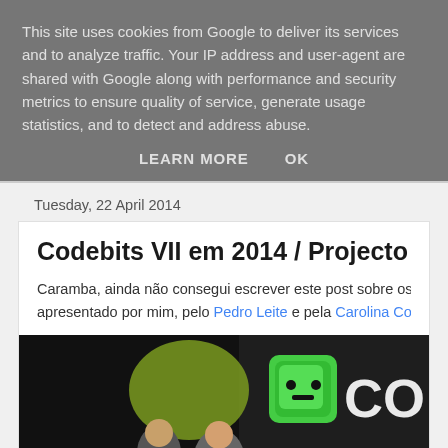This site uses cookies from Google to deliver its services and to analyze traffic. Your IP address and user-agent are shared with Google along with performance and security metrics to ensure quality of service, generate usage statistics, and to detect and address abuse.
LEARN MORE   OK
Tuesday, 22 April 2014
Codebits VII em 2014 / Projecto NeLo - N
Caramba, ainda não consegui escrever este post sobre os 3 dias de lou… apresentado por mim, pelo Pedro Leite e pela Carolina Correia.
[Figure (photo): Photo from Codebits VII event showing a person at a dark-themed stage backdrop with a green cube Codebits logo and partial text 'BITS' visible]